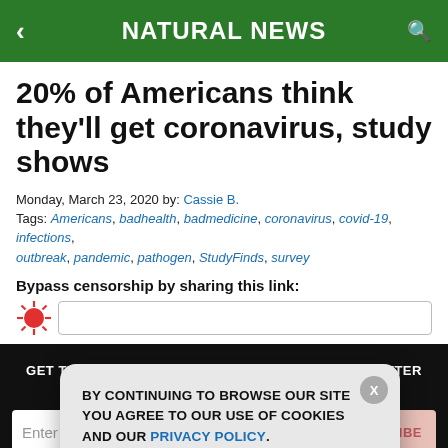NATURAL NEWS
20% of Americans think they'll get coronavirus, study shows
Monday, March 23, 2020 by: Cassie B.
Tags: Americans, badhealth, badmedicine, coronavirus, covid-19, infections, outbreak, pandemic, pathogen, StudyFinds, survey
Bypass censorship by sharing this link:
[Figure (screenshot): Dark newsletter signup section with text: GET THE WORLD'S BEST NATURAL HEALTH NEWSLETTER DELIVERED STRAIGHT TO YOUR INBOX. Email input field and SUBSCRIBE button.]
[Figure (screenshot): Cookie consent popup overlay: BY CONTINUING TO BROWSE OUR SITE YOU AGREE TO OUR USE OF COOKIES AND OUR PRIVACY POLICY. Agree and close button. X close button.]